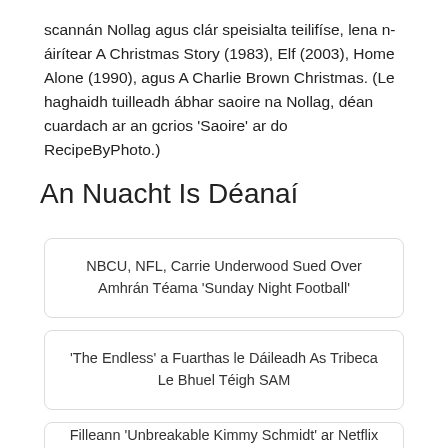scannán Nollag agus clár speisialta teilifíse, lena n-áirítear A Christmas Story (1983), Elf (2003), Home Alone (1990), agus A Charlie Brown Christmas. (Le haghaidh tuilleadh ábhar saoire na Nollag, déan cuardach ar an gcrios 'Saoire' ar do RecipeByPhoto.)
An Nuacht Is Déanaí
NBCU, NFL, Carrie Underwood Sued Over Amhrán Téama 'Sunday Night Football'
'The Endless' a Fuarthas le Dáileadh As Tribeca Le Bhuel Téigh SAM
Filleann 'Unbreakable Kimmy Schmidt' ar Netflix le